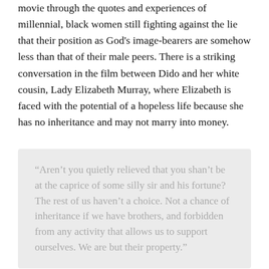movie through the quotes and experiences of millennial, black women still fighting against the lie that their position as God's image-bearers are somehow less than that of their male peers. There is a striking conversation in the film between Dido and her white cousin, Lady Elizabeth Murray, where Elizabeth is faced with the potential of a hopeless life because she has no inheritance and may not marry into money.
“Aren’t you quietly relieved that you shan’t be at the caprice of some silly sir and his fortune? The rest of us haven’t a choice. Not a chance of inheritance if we have brothers, and forbidden from any activity that allows us to support ourselves. We are but their property.”